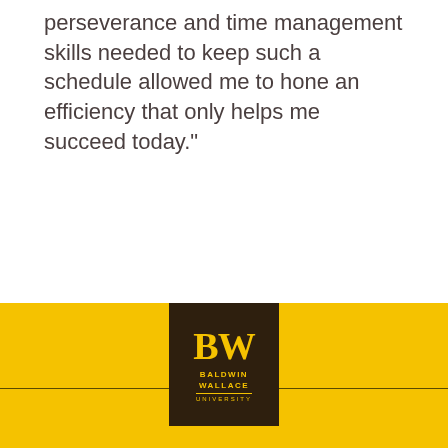perseverance and time management skills needed to keep such a schedule allowed me to hone an efficiency that only helps me succeed today."
[Figure (logo): Baldwin Wallace University logo: dark brown square with gold BW letters above BALDWIN WALLACE UNIVERSITY text, set in a gold/yellow footer band]